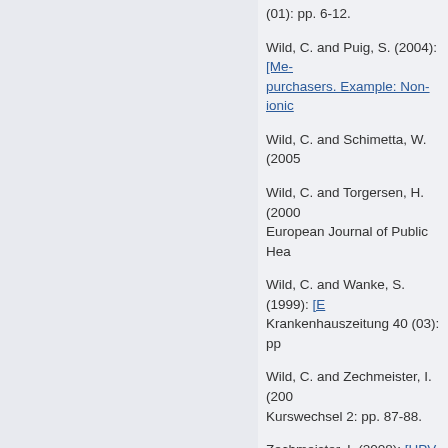(01): pp. 6-12.
Wild, C. and Puig, S. (2004): [Me- purchasers. Example: Non-ionic
Wild, C. and Schimetta, W. (2005
Wild, C. and Torgersen, H. (2000 European Journal of Public Hea
Wild, C. and Wanke, S. (1999): [E Krankenhauszeitung 40 (03): pp
Wild, C. and Zechmeister, I. (200 Kurswechsel 2: pp. 87-88.
Zechmeister, I. (2008): [HPV-vacc (Frühling 2008): pp. 8-9.
Zechmeister, I. (2006): [Cost-effe
Zechmeister, I. (2006): [Health p Österreichische Krankenhauszei
Zechmeister, I. (2006): [Women, health economics]. Beiträge zu